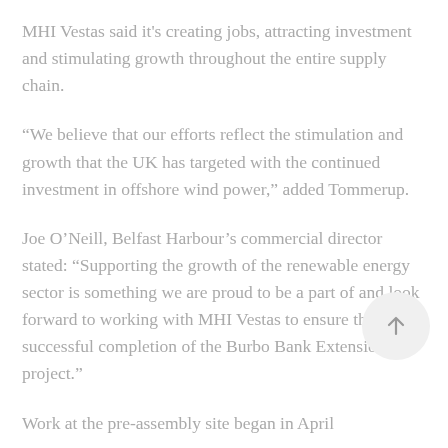MHI Vestas said it's creating jobs, attracting investment and stimulating growth throughout the entire supply chain.
“We believe that our efforts reflect the stimulation and growth that the UK has targeted with the continued investment in offshore wind power,” added Tommerup.
Joe O’Neill, Belfast Harbour’s commercial director stated: “Supporting the growth of the renewable energy sector is something we are proud to be a part of and look forward to working with MHI Vestas to ensure the successful completion of the Burbo Bank Extension project.”
Work at the pre-assembly site began in April